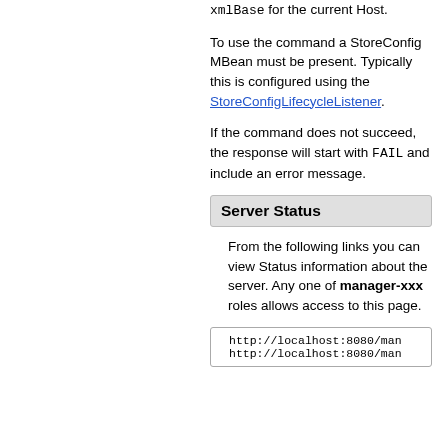xmlBase for the current Host.
To use the command a StoreConfig MBean must be present. Typically this is configured using the StoreConfigLifecycleListener.
If the command does not succeed, the response will start with FAIL and include an error message.
Server Status
From the following links you can view Status information about the server. Any one of manager-xxx roles allows access to this page.
http://localhost:8080/man
http://localhost:8080/man